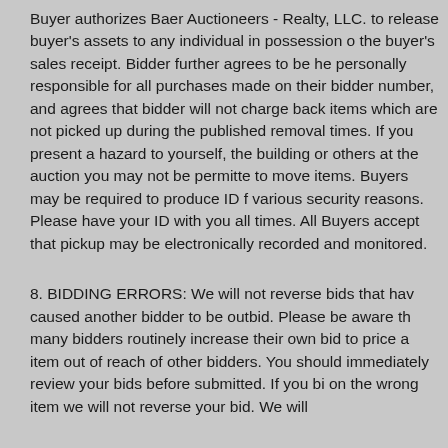Buyer authorizes Baer Auctioneers - Realty, LLC. to release buyer's assets to any individual in possession of the buyer's sales receipt. Bidder further agrees to be held personally responsible for all purchases made on their bidder number, and agrees that bidder will not charge back items which are not picked up during the published removal times. If you present a hazard to yourself, the building or others at the auction you may not be permitted to move items. Buyers may be required to produce ID for various security reasons. Please have your ID with you at all times. All Buyers accept that pickup may be electronically recorded and monitored.
8. BIDDING ERRORS: We will not reverse bids that have caused another bidder to be outbid. Please be aware that many bidders routinely increase their own bid to price an item out of reach of other bidders. You should immediately review your bids before submitted. If you bid on the wrong item we will not reverse your bid. We will